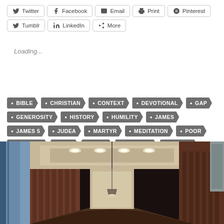Twitter
Facebook
Email
Print
Pinterest
Tumblr
LinkedIn
More
Loading...
BIBLE CHRISTIAN CONTEXT DEVOTIONAL GAP GENEROSITY HISTORY HUMILITY JAMES JAMES 5 JUDEA MARTYR MEDITATION POOR POVERTY RICH ROME THOUGHT WEALTH
[Figure (photo): Interior hallway of a formal building with wood paneling, recessed ceiling lights, and a hanging pendant lamp]